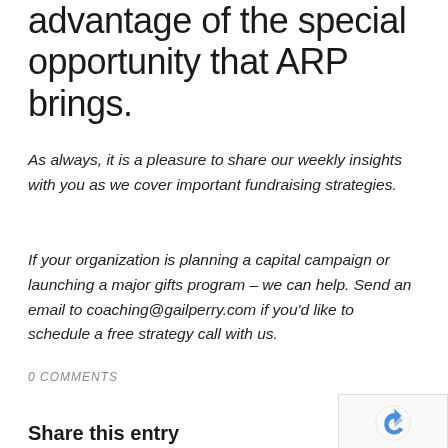advantage of the special opportunity that ARP brings.
As always, it is a pleasure to share our weekly insights with you as we cover important fundraising strategies.
If your organization is planning a capital campaign or launching a major gifts program – we can help. Send an email to coaching@gailperry.com if you'd like to schedule a free strategy call with us.
0 COMMENTS
[Figure (logo): reCAPTCHA logo with Privacy and Terms text]
Share this entry